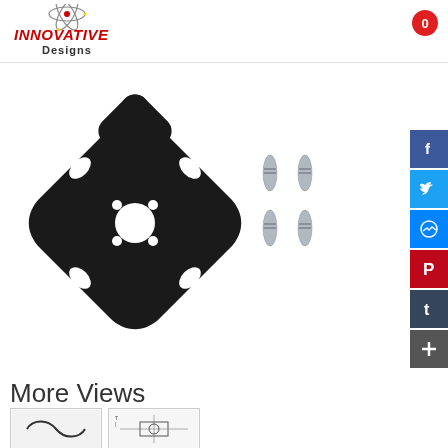[Figure (logo): Innovative Designs logo with atom graphic and red stylized text]
[Figure (photo): Black X-shaped motor mount plate with oval mounting holes and a center hole, shown with four silver screws]
More Views
[Figure (photo): Thumbnail image 1 of motor mount plate]
[Figure (photo): Thumbnail image 2 of motor mount plate schematic]